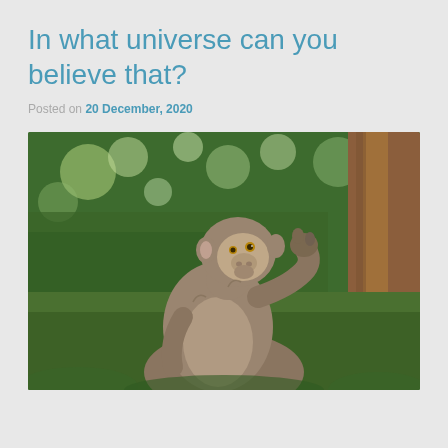In what universe can you believe that?
Posted on 20 December, 2020
[Figure (photo): A macaque monkey sitting and looking upward thoughtfully with one hand raised near its chin, set against a blurred green forest background with a reddish-brown tree trunk visible.]